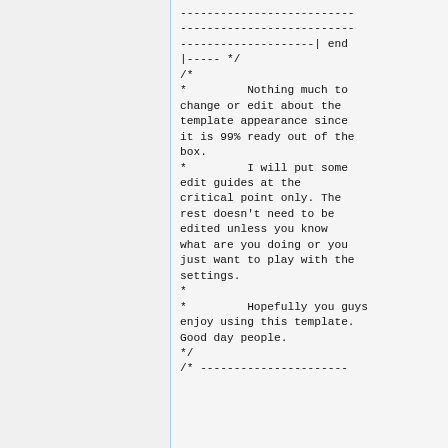--------------------------
--------------------------
--------------------- end
|----- */
/*
*         Nothing much to change or edit about the template appearance since it is 99% ready out of the box.
*         I will put some edit guides at the critical point only. The rest doesn't need to be edited unless you know what are you doing or you just want to play with the settings.
*
*         Hopefully you guys enjoy using this template. Good day people.
*/
/* ----------------------